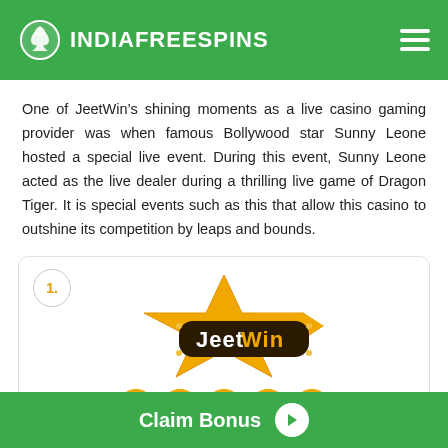INDIAFREESPINS
One of JeetWin’s shining moments as a live casino gaming provider was when famous Bollywood star Sunny Leone hosted a special live event. During this event, Sunny Leone acted as the live dealer during a thrilling live game of Dragon Tiger. It is special events such as this that allow this casino to outshine its competition by leaps and bounds.
[Figure (logo): JeetWin logo with star shape in gold/black, numbered card item with star ratings below]
Claim Bonus